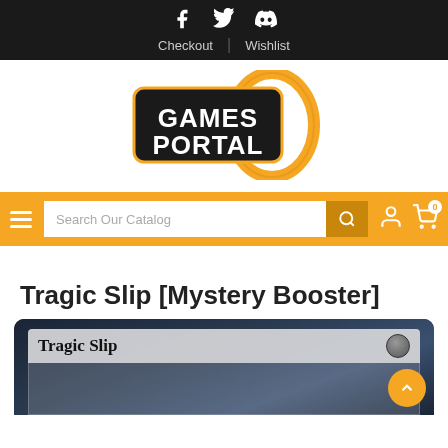Games Portal - Checkout | Wishlist
[Figure (logo): Games Portal logo with orange portal ring around black rectangle containing white bold text 'GAMES PORTAL']
Search Our Catalog
Tragic Slip [Mystery Booster]
[Figure (photo): Magic: The Gathering card 'Tragic Slip' showing the card title bar with mana symbol on dark background]